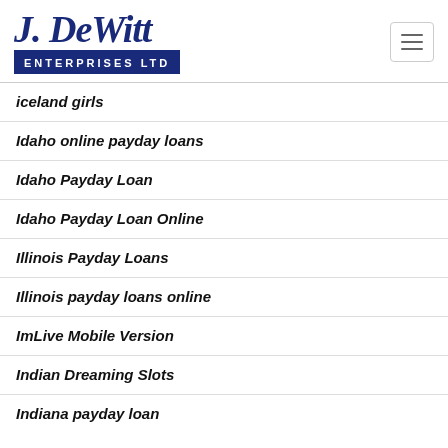[Figure (logo): J. DeWitt Enterprises Ltd logo with script text and navy blue banner]
iceland girls
Idaho online payday loans
Idaho Payday Loan
Idaho Payday Loan Online
Illinois Payday Loans
Illinois payday loans online
ImLive Mobile Version
Indian Dreaming Slots
Indiana payday loan